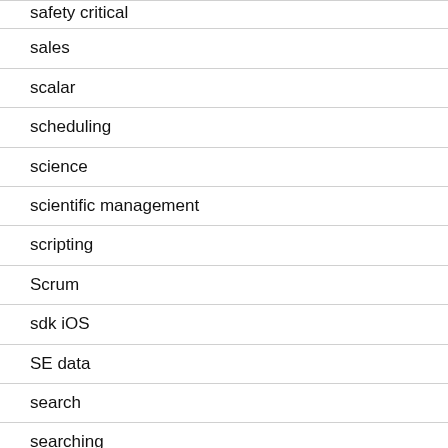safety critical
sales
scalar
scheduling
science
scientific management
scripting
Scrum
sdk iOS
SE data
search
searching